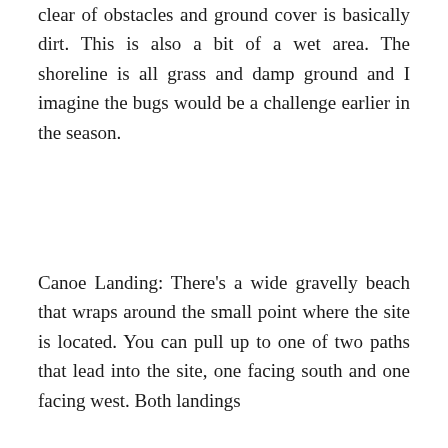clear of obstacles and ground cover is basically dirt. This is also a bit of a wet area. The shoreline is all grass and damp ground and I imagine the bugs would be a challenge earlier in the season.
Canoe Landing: There’s a wide gravelly beach that wraps around the small point where the site is located. You can pull up to one of two paths that lead into the site, one facing south and one facing west. Both landings